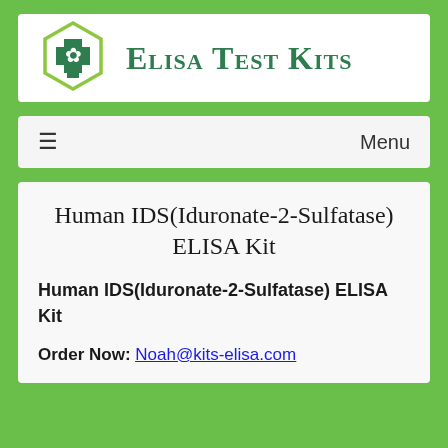[Figure (logo): ELISA Test Kits logo: hexagon with cannabis leaf and medical cross symbols in green, beside text 'ELISA Test Kits' in dark green serif font]
Menu
Human IDS(Iduronate-2-Sulfatase) ELISA Kit
Human IDS(Iduronate-2-Sulfatase) ELISA Kit
Order Now: Noah@kits-elisa.com